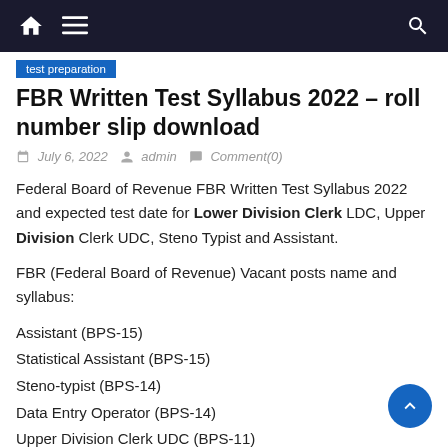Navigation bar with home, menu, and search icons
test preparation
FBR Written Test Syllabus 2022 – roll number slip download
July 6, 2022   admin   Comment(0)
Federal Board of Revenue FBR Written Test Syllabus 2022 and expected test date for Lower Division Clerk LDC, Upper Division Clerk UDC, Steno Typist and Assistant.
FBR (Federal Board of Revenue) Vacant posts name and syllabus:
Assistant (BPS-15)
Statistical Assistant (BPS-15)
Steno-typist (BPS-14)
Data Entry Operator (BPS-14)
Upper Division Clerk UDC (BPS-11)